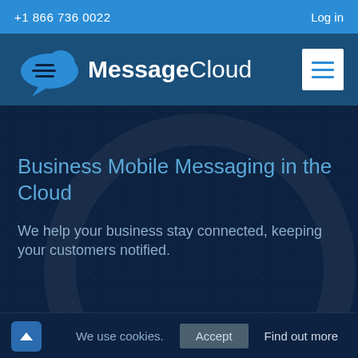+1 866 736 0022   Log in
[Figure (logo): MessageCloud logo — cloud with chat lines icon followed by bold text 'MessageCloud']
Business Mobile Messaging in the Cloud
We help your business stay connected, keeping your customers notified.
We use cookies.
Accept   Find out more